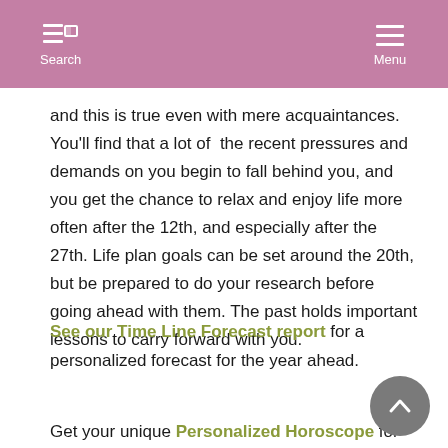Search | Menu
and this is true even with mere acquaintances. You'll find that a lot of the recent pressures and demands on you begin to fall behind you, and you get the chance to relax and enjoy life more often after the 12th, and especially after the 27th. Life plan goals can be set around the 20th, but be prepared to do your research before going ahead with them. The past holds important lessons to carry forward with you.
See our Time Line Forecast report for a personalized forecast for the year ahead.
Get your unique Personalized Horoscope for the year